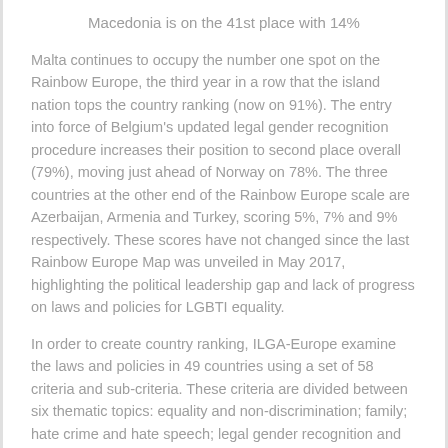Macedonia is on the 41st place with 14%
Malta continues to occupy the number one spot on the Rainbow Europe, the third year in a row that the island nation tops the country ranking (now on 91%). The entry into force of Belgium’s updated legal gender recognition procedure increases their position to second place overall (79%), moving just ahead of Norway on 78%. The three countries at the other end of the Rainbow Europe scale are Azerbaijan, Armenia and Turkey, scoring 5%, 7% and 9% respectively. These scores have not changed since the last Rainbow Europe Map was unveiled in May 2017, highlighting the political leadership gap and lack of progress on laws and policies for LGBTI equality.
In order to create country ranking, ILGA-Europe examine the laws and policies in 49 countries using a set of 58 criteria and sub-criteria. These criteria are divided between six thematic topics: equality and non-discrimination; family; hate crime and hate speech; legal gender recognition and bodily integrity; civil society space; and asylum.